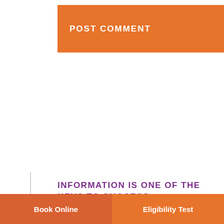POST COMMENT
INFORMATION IS ONE OF THE KEYS TO SUCCESS.
Stay up to date with the latest immigration news. Don’t miss any relevant announcements or information that can be useful to your process.
Book Online    Eligibility Test